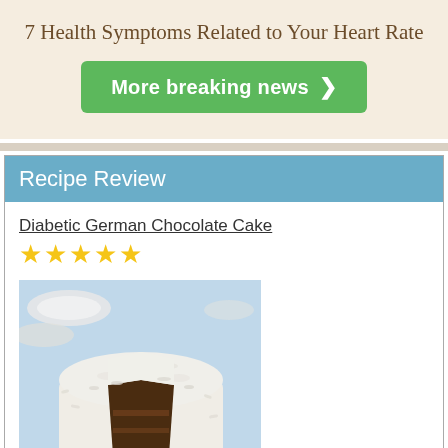7 Health Symptoms Related to Your Heart Rate
[Figure (other): Green button with white text 'More breaking news >']
Recipe Review
Diabetic German Chocolate Cake
[Figure (photo): Photo of a round Diabetic German Chocolate Cake with white coconut frosting and a slice cut out revealing dark chocolate cake interior, on a blue tablecloth background]
[Figure (other): 5 yellow star rating icons]